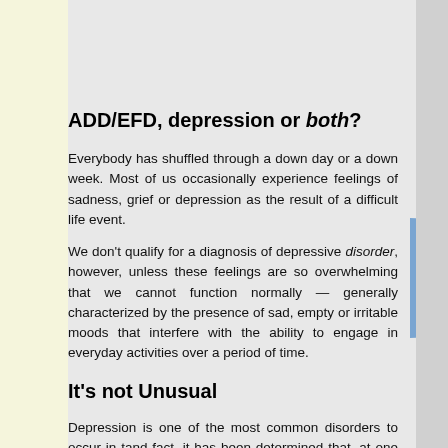treatment outcome. ~ from Attention Research Update by Duke U Rabiner, Ph.D. (whose article on ADD and Depression was the genesis
ADD/EFD, depression or both?
Everybody has shuffled through a down day or a down week. Most of us occasionally experience feelings of sadness, grief or depression as the result of a difficult life event.
We don't qualify for a diagnosis of depressive disorder, however, unless these feelings are so overwhelming that we cannot function normally — generally characterized by the presence of sad, empty or irritable moods that interfere with the ability to engage in everyday activities over a period of time.
It's not Unusual
Depression is one of the most common disorders to occur in tand fact, it has been determined that, at one time or another, close t adult have been suffered with depression. Studies indicates th